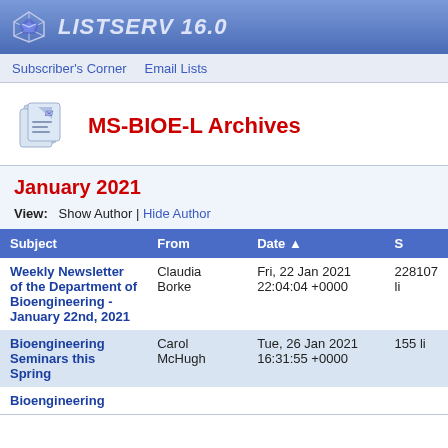LISTSERV 16.0
Subscriber's Corner | Email Lists
MS-BIOE-L Archives
January 2021
View: Show Author | Hide Author
| Subject | From | Date ▲ | S |
| --- | --- | --- | --- |
| Weekly Newsletter of the Department of Bioengineering - January 22nd, 2021 | Claudia Borke | Fri, 22 Jan 2021 22:04:04 +0000 | 228107 li |
| Bioengineering Seminars this Spring | Carol McHugh | Tue, 26 Jan 2021 16:31:55 +0000 | 155 li |
| Bioengineering |  |  |  |